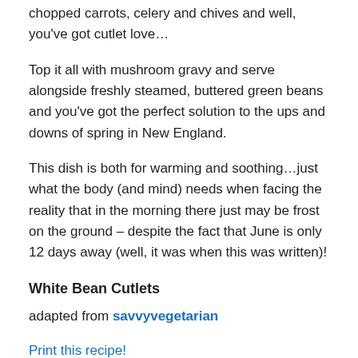(crumbs) and sublime white bean…add to this lovliness, chopped carrots, celery and chives and well, you've got cutlet love…
Top it all with mushroom gravy and serve alongside freshly steamed, buttered green beans and you've got the perfect solution to the ups and downs of spring in New England.
This dish is both for warming and soothing…just what the body (and mind) needs when facing the reality that in the morning there just may be frost on the ground – despite the fact that June is only 12 days away (well, it was when this was written)!
White Bean Cutlets
adapted from savvyvegetarian
Print this recipe!